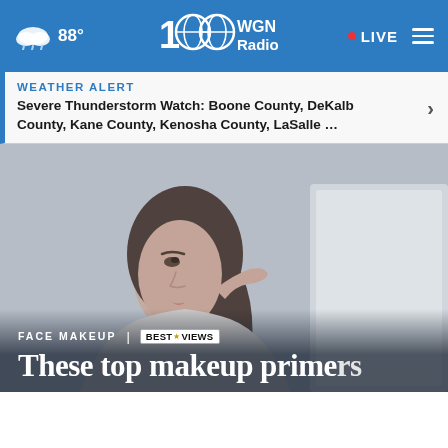88° | WGN Radio 100 | LIVE
WEATHER ALERT
Severe Thunderstorm Watch: Boone County, DeKalb County, Kane County, Kenosha County, LaSalle …
[Figure (photo): Woman applying makeup or skincare product to her cheek, looking in mirror, light background]
FACE MAKEUP | BESTREVIEWS
These top makeup primers...